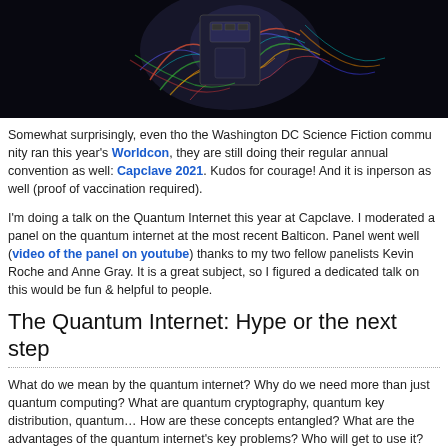[Figure (photo): A robot or electronic device with colorful wires against a dark background]
Somewhat surprisingly, even tho the Washington DC Science Fiction community ran this year's Worldcon, they are still doing their regular annual convention as well: Capclave 2021. Kudos for courage! And it is inperson as well (proof of vaccination required).
I'm doing a talk on the Quantum Internet this year at Capclave. I moderated a panel on the quantum internet at the most recent Balticon. Panel went well (video of the panel on youtube) thanks to my two fellow panelists Kevin Roche and Anne Gray. It is a great subject, so I figured a dedicated talk on this would be fun & helpful to people.
The Quantum Internet: Hype or the next step
What do we mean by the quantum internet? Why do we need more than just quantum computing? What are quantum cryptography, quantum key distribution, quantum… How are these concepts entangled? What are the advantages of the quantum internet's key problems? Who will get to use it? And do we have just a bunch of interesting concepts all have quantum in their name or can the whole be more than the sum of its…
This will be 4pm Saturday October 2nd, 2021 at Capclave